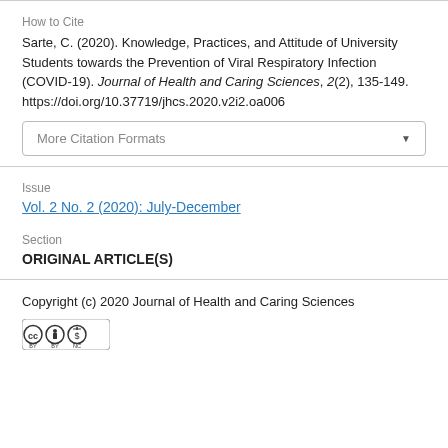How to Cite
Sarte, C. (2020). Knowledge, Practices, and Attitude of University Students towards the Prevention of Viral Respiratory Infection (COVID-19). Journal of Health and Caring Sciences, 2(2), 135-149. https://doi.org/10.37719/jhcs.2020.v2i2.oa006
More Citation Formats
Issue
Vol. 2 No. 2 (2020): July-December
Section
ORIGINAL ARTICLE(S)
Copyright (c) 2020 Journal of Health and Caring Sciences
[Figure (logo): Creative Commons Attribution-NonCommercial license badge (CC BY NC)]